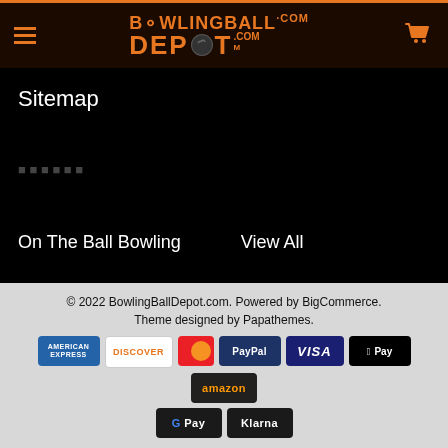BowlingBallDepot.com header with logo and cart icon
Sitemap
On The Ball Bowling
View All
© 2022 BowlingBallDepot.com. Powered by BigCommerce. Theme designed by Papathemes. Payment icons: American Express, Discover, Mastercard, PayPal, Visa, Apple Pay, Amazon, Google Pay, Klarna